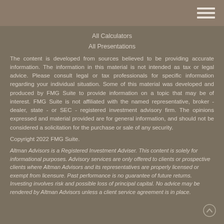All Calculators
All Presentations
The content is developed from sources believed to be providing accurate information. The information in this material is not intended as tax or legal advice. Please consult legal or tax professionals for specific information regarding your individual situation. Some of this material was developed and produced by FMG Suite to provide information on a topic that may be of interest. FMG Suite is not affiliated with the named representative, broker - dealer, state - or SEC - registered investment advisory firm. The opinions expressed and material provided are for general information, and should not be considered a solicitation for the purchase or sale of any security.
Copyright 2022 FMG Suite.
Altman Advisors is a Registered Investment Adviser. This content is solely for informational purposes. Advisory services are only offered to clients or prospective clients where Altman Advisors and its representatives are properly licensed or exempt from licensure. Past performance is no guarantee of future returns. Investing involves risk and possible loss of principal capital. No advice may be rendered by Altman Advisors unless a client service agreement is in place.